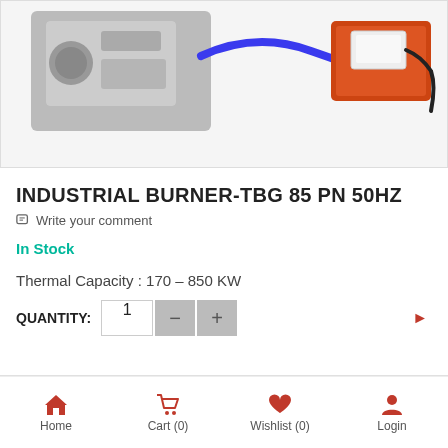[Figure (photo): Product photo of INDUSTRIAL BURNER-TBG 85 PN 50HZ showing the burner unit on the left and a red heating pad component on the right, connected by cables.]
INDUSTRIAL BURNER-TBG 85 PN 50HZ
Write your comment
In Stock
Thermal Capacity : 170 – 850 KW
QUANTITY: 1
Home   Cart (0)   Wishlist (0)   Login